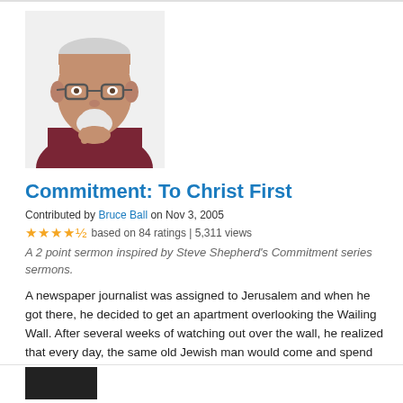[Figure (photo): Headshot of an elderly man with glasses and a white goatee, wearing a dark red/maroon shirt, chin resting on hand, white background.]
Commitment: To Christ First
Contributed by Bruce Ball on Nov 3, 2005
★★★★½ based on 84 ratings | 5,311 views
A 2 point sermon inspired by Steve Shepherd's Commitment series sermons.
A newspaper journalist was assigned to Jerusalem and when he got there, he decided to get an apartment overlooking the Wailing Wall. After several weeks of watching out over the wall, he realized that every day, the same old Jewish man would come and spend most of the day praying vigorously at …read more
Scripture: Romans 12:1
Denomination: *other